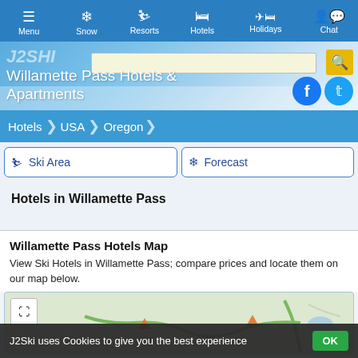Menu | Snow | Resorts | Hotels | Holidays | Chat
Willamette Pass Hotels & Apartments
Hotels > USA > Oregon
Ski Area | Forecast
Hotels in Willamette Pass
Willamette Pass Hotels Map
View Ski Hotels in Willamette Pass; compare prices and locate them on our map below.
[Figure (map): Map showing Willamette Pass ski area location with roads and mountain markers]
J2Ski uses Cookies to give you the best experience